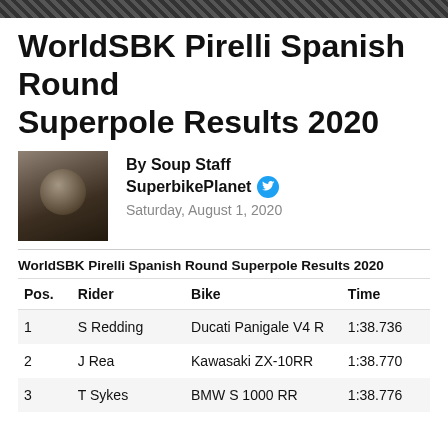WorldSBK Pirelli Spanish Round Superpole Results 2020
By Soup Staff
SuperbikePlanet
Saturday, August 1, 2020
WorldSBK Pirelli Spanish Round Superpole Results 2020
| Pos. | Rider | Bike | Time |
| --- | --- | --- | --- |
| 1 | S Redding | Ducati Panigale V4 R | 1:38.736 |
| 2 | J Rea | Kawasaki ZX-10RR | 1:38.770 |
| 3 | T Sykes | BMW S 1000 RR | 1:38.776 |